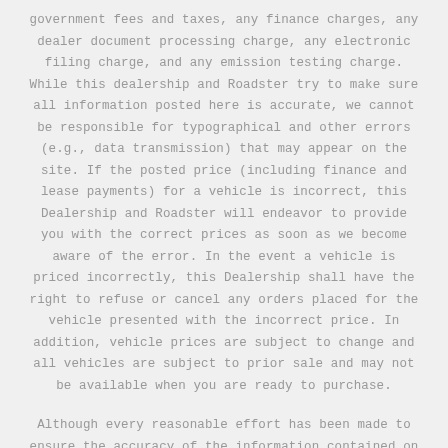government fees and taxes, any finance charges, any dealer document processing charge, any electronic filing charge, and any emission testing charge. While this dealership and Roadster try to make sure all information posted here is accurate, we cannot be responsible for typographical and other errors (e.g., data transmission) that may appear on the site. If the posted price (including finance and lease payments) for a vehicle is incorrect, this Dealership and Roadster will endeavor to provide you with the correct prices as soon as we become aware of the error. In the event a vehicle is priced incorrectly, this Dealership shall have the right to refuse or cancel any orders placed for the vehicle presented with the incorrect price. In addition, vehicle prices are subject to change and all vehicles are subject to prior sale and may not be available when you are ready to purchase.
Although every reasonable effort has been made to ensure the accuracy of the information contained on our websites, absolute accuracy cannot be guaranteed. Dealer and Roadster cannot be held liable for typographical or other errors on this site. While every